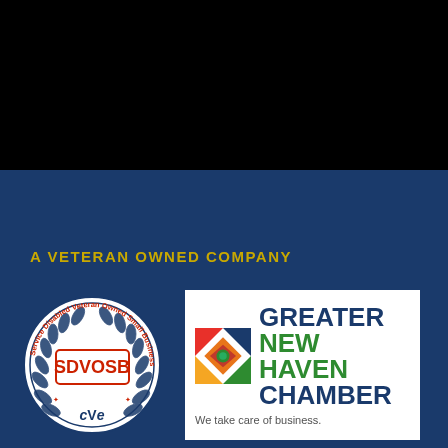[Figure (photo): Black section — dark/black background at top of page, appears to be a photo or dark graphic area]
A VETERAN OWNED COMPANY
[Figure (logo): SDVOSB — Service Disabled Veteran Owned Small Business circular seal with laurel wreath, cVe logo at bottom]
[Figure (logo): Greater New Haven Chamber — colorful geometric logo with text 'GREATER NEW HAVEN CHAMBER' and tagline 'We take care of business.']